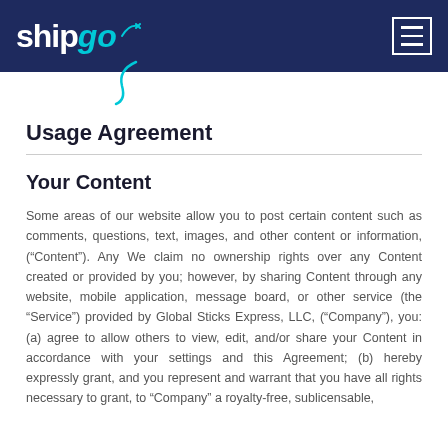shipgo (logo with menu icon)
Usage Agreement
Your Content
Some areas of our website allow you to post certain content such as comments, questions, text, images, and other content or information, (“Content”). Any We claim no ownership rights over any Content created or provided by you; however, by sharing Content through any website, mobile application, message board, or other service (the “Service”) provided by Global Sticks Express, LLC, (“Company”), you: (a) agree to allow others to view, edit, and/or share your Content in accordance with your settings and this Agreement; (b) hereby expressly grant, and you represent and warrant that you have all rights necessary to grant, to “Company” a royalty-free, sublicensable,